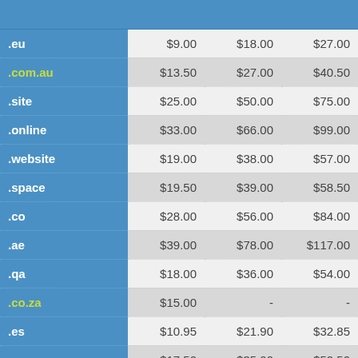| Domain | 1 Year | 2 Years | 3 Years |
| --- | --- | --- | --- |
| .eu | $9.00 | $18.00 | $27.00 |
| .com.au | $13.50 | $27.00 | $40.50 |
| .site | $25.00 | $50.00 | $75.00 |
| .online | $33.00 | $66.00 | $99.00 |
| .website | $19.00 | $38.00 | $57.00 |
| .space | $19.50 | $39.00 | $58.50 |
| .co | $28.00 | $56.00 | $84.00 |
| .ae | $39.00 | $78.00 | $117.00 |
| .qa | $18.00 | $36.00 | $54.00 |
| .co.za | $15.00 | - | - |
| .es | $10.95 | $21.90 | $32.85 |
| .me | $17.50 | $35.00 | $52.50 |